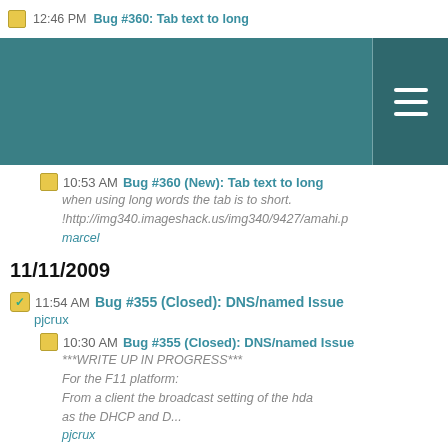12:46 PM Bug #360: Tab text to long
10:53 AM Bug #360 (New): Tab text to long
when using long words the tab is to short. !http://img340.imageshack.us/img340/9427/amahi.p
marcel
11/11/2009
11:54 AM Bug #355 (Closed): DNS/named Issue
pjcrux
10:30 AM Bug #355 (Closed): DNS/named Issue
***WRITE UP IN PROGRESS***
For the F11 platform:
From a client the broadcast setting of the hda as the DHCP and D...
pjcrux
11:53 AM Bug #356 (Closed): DNS/named Issue
For the F11 platform:
From a client the broadcast setting of the hda as the DHCP and DYNDNS is not the IP address of...
pjcrux
11/08/2009